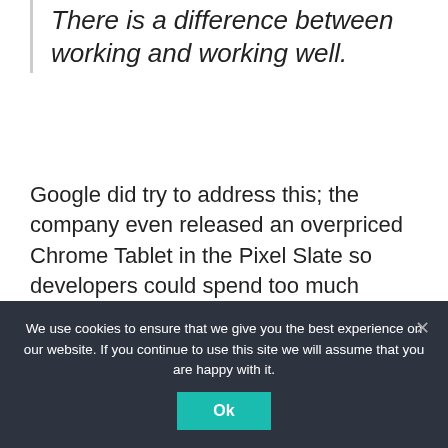There is a difference between working and working well.
Google did try to address this; the company even released an overpriced Chrome Tablet in the Pixel Slate so developers could spend too much money to “fix” app issues that nobody was experiencing. You see, Android is king when it comes to phones — about 80% of the world’s smartphones are Android. But when you compare the sheer numbers you have very few people buying Android
We use cookies to ensure that we give you the best experience on our website. If you continue to use this site we will assume that you are happy with it.
Ok